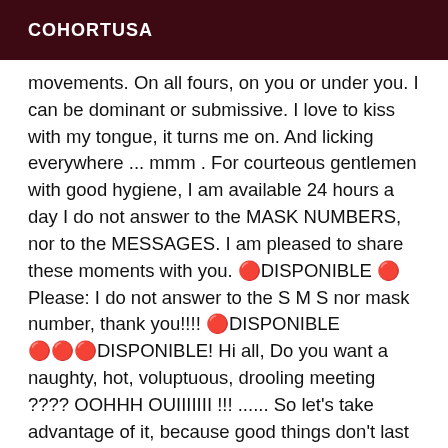COHORTUSA
movements. On all fours, on you or under you. I can be dominant or submissive. I love to kiss with my tongue, it turns me on. And licking everywhere ... mmm . For courteous gentlemen with good hygiene, I am available 24 hours a day I do not answer to the MASK NUMBERS, nor to the MESSAGES. I am pleased to share these moments with you. 🔴DISPONIBLE 🔴 Please: I do not answer to the S M S nor mask number, thank you!!!! 🔴DISPONIBLE 🔴🔴🔴DISPONIBLE! Hi all, Do you want a naughty, hot, voluptuous, drooling meeting ???? OOHHH OUIIIIIII !!! ...... So let's take advantage of it, because good things don't last very long!! My name is ALEXXYA, trans MADE IN BRAZIL ; 29 years old, hot, dreamy body, I'm what we call a real bitch, and I have capacities to satisfy you ! I am pretty, very feminine, sweet, natural, sexy and cuddly ! 💄 I propose you 30 min - 100 roses 1 hour - 150 roses Couple = 300 roses 1h 300 roses + cab ( 1h only in Stockton ) 🔴 Please contact